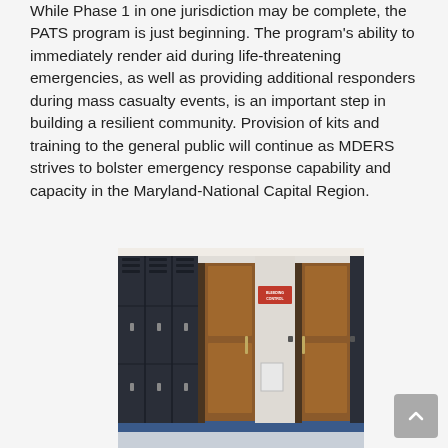While Phase 1 in one jurisdiction may be complete, the PATS program is just beginning. The program's ability to immediately render aid during life-threatening emergencies, as well as providing additional responders during mass casualty events, is an important step in building a resilient community. Provision of kits and training to the general public will continue as MDERS strives to bolster emergency response capability and capacity in the Maryland-National Capital Region.
[Figure (photo): School hallway with dark blue/black metal lockers on the left, wooden doors with a red sign reading 'BLEEDING CONTROL' on the wall, and a blue floor. An AED or emergency kit mounted on the wall between the doors.]